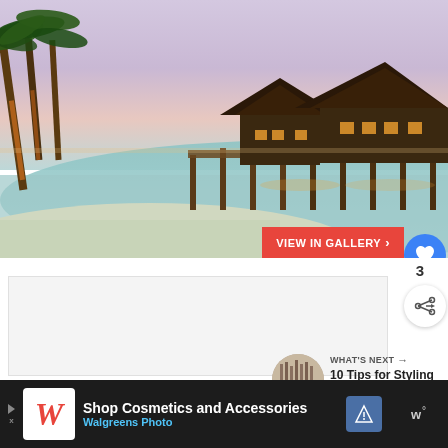[Figure (photo): Tropical beach resort at dusk showing overwater bungalows connected by a wooden pier, palm trees on the left, calm water, and a purple-pink sunset sky]
VIEW IN GALLERY ›
3
[Figure (infographic): WHAT'S NEXT → 10 Tips for Styling The...]
Shop Cosmetics and Accessories
Walgreens Photo